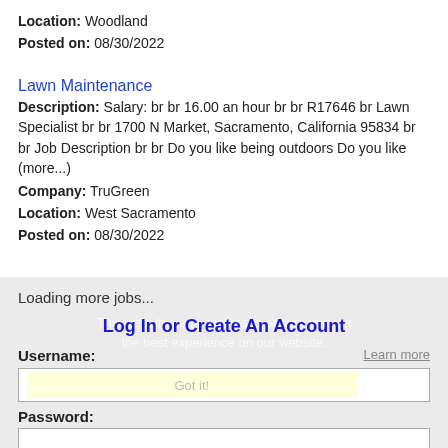Location: Woodland
Posted on: 08/30/2022
Lawn Maintenance
Description: Salary: br br 16.00 an hour br br R17646 br Lawn Specialist br br 1700 N Market, Sacramento, California 95834 br br Job Description br br Do you like being outdoors Do you like (more...)
Company: TruGreen
Location: West Sacramento
Posted on: 08/30/2022
Loading more jobs...
This website uses cookies to ensure you get the best experience on our website.
Log In or Create An Account
Username:
Learn more
Got it!
Password: